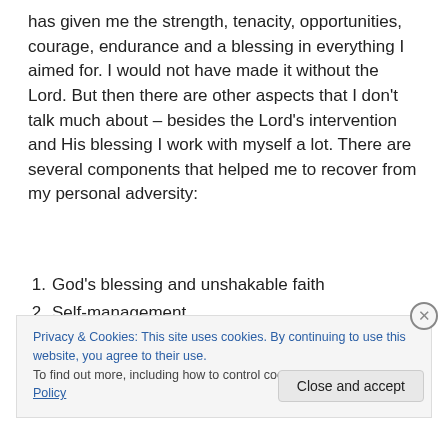has given me the strength, tenacity, opportunities, courage, endurance and a blessing in everything I aimed for. I would not have made it without the Lord. But then there are other aspects that I don't talk much about – besides the Lord's intervention and His blessing I work with myself a lot. There are several components that helped me to recover from my personal adversity:
God's blessing and unshakable faith
Self-management
Personal Action and relentless effort to do the best I
Privacy & Cookies: This site uses cookies. By continuing to use this website, you agree to their use. To find out more, including how to control cookies, see here: Cookie Policy